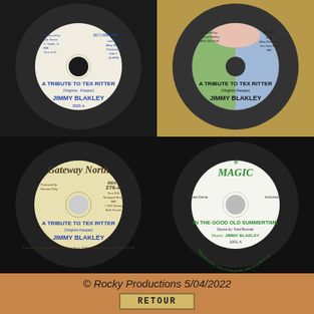[Figure (photo): Four vintage 45 RPM vinyl record labels arranged in a 2x2 grid. Top-left: white label showing 'A TRIBUTE TO TEX RITTER (Virginia - Kaspar) / JIMMY BLAKLEY / 3065-A', produced by Bob Green, C. Taylor Jr., BMI, Time 3:25; Zab-Tone/Atfay Music Publishers, Side 1, 45 RPM, phone (817) 838-4008. Top-right: green and blue label showing 'A TRIBUTE TO TEX RITTER (Virginia Kaspar) / JIMMY BLAKLEY', produced by Jimmy Blakley, 806-763-3709, 45-1001, 2:25, Atfay Music Co., Zas-Tone Music, BMI. Bottom-left: cream/yellow Gateway North label showing 'A TRIBUTE TO TEX RITTER (Virginia Kaspar) / JIMMY BLAKLEY', IRDA 276-A, Time 3:35, Northgate Music BMI, 1976 Gateway North Records, Produced by Norman Petty. Bottom-right: white Magic Records label showing 'IN THE GOOD OLD SUMMERTIME / Dance by: Fred Bouvier / Music: JIMMY BLAKLEY / 1001-A', Square Dance, Instrumental, Magic Records 1916 Franklin Ave. New Orleans 17 LA.]
© Rocky Productions 5/04/2022
RETOUR